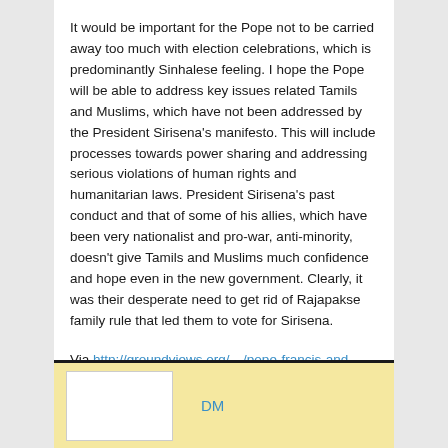It would be important for the Pope not to be carried away too much with election celebrations, which is predominantly Sinhalese feeling. I hope the Pope will be able to address key issues related Tamils and Muslims, which have not been addressed by the President Sirisena's manifesto. This will include processes towards power sharing and addressing serious violations of human rights and humanitarian laws. President Sirisena's past conduct and that of some of his allies, which have been very nationalist and pro-war, anti-minority, doesn't give Tamils and Muslims much confidence and hope even in the new government. Clearly, it was their desperate need to get rid of Rajapakse family rule that led them to vote for Sirisena.
Via http://groundviews.org/.../pope-francis-and-struggle-for-hum.../
[Figure (other): Advertisement banner with yellow background, white box placeholder on left, and 'DM' text in blue on right]